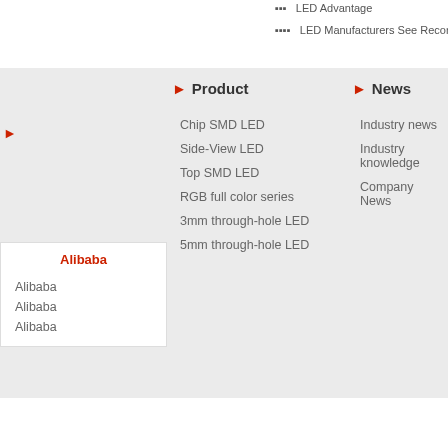LED Advantage
LED Manufacturers See Record Hi
Product
Chip SMD LED
Side-View LED
Top SMD LED
RGB full color series
3mm through-hole LED
5mm through-hole LED
News
Industry news
Industry knowledge
Company News
Alibaba
Alibaba
Alibaba
Alibaba